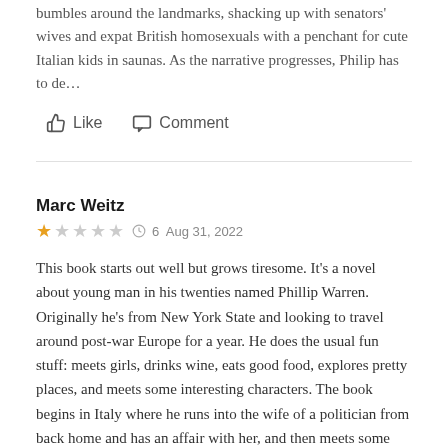bumbles around the landmarks, shacking up with senators' wives and expat British homosexuals with a penchant for cute Italian kids in saunas. As the narrative progresses, Philip has to de…
👍 Like    💬 Comment
Marc Weitz
★☆☆☆☆  🕐 6  Aug 31, 2022
This book starts out well but grows tiresome. It's a novel about young man in his twenties named Phillip Warren. Originally he's from New York State and looking to travel around post-war Europe for a year. He does the usual fun stuff: meets girls, drinks wine, eats good food, explores pretty places, and meets some interesting characters. The book begins in Italy where he runs into the wife of a politician from back home and has an affair with her, and then meets some odd older men who have nothi…